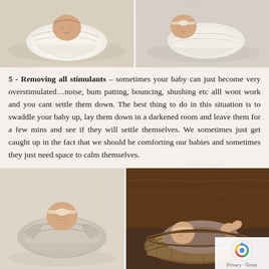[Figure (photo): Two newborn baby photos side by side at top - left shows baby swaddled in white wrap, right shows baby in similar swaddle on light background]
5 - Removing all stimulants – sometimes your baby can just become very overstimulated…noise, bum patting, bouncing, shushing etc alll wont work and you cant settle them down. The best thing to do in this situation is to swaddle your baby up, lay them down in a darkened room and leave them for a few mins and see if they will settle themselves. We sometimes just get caught up in the fact that we should be comforting our babies and sometimes they just need space to calm themselves.
[Figure (photo): Two newborn baby photos side by side at bottom - left shows baby wrapped in light grey/beige cloth on pale background, right shows baby in a wicker basket with straw/hay on warm wood background]
I have had the job of photographing 1000's of babies in the